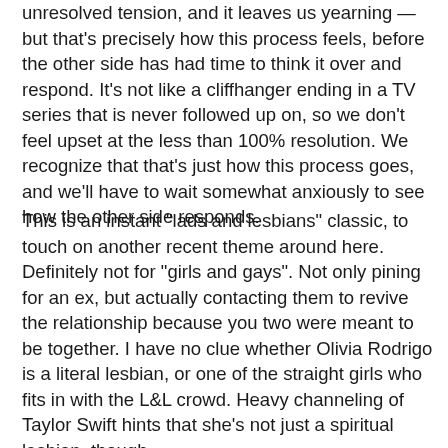unresolved tension, and it leaves us yearning — but that's precisely how this process feels, before the other side has had time to think it over and respond. It's not like a cliffhanger ending in a TV series that is never followed up on, so we don't feel upset at the less than 100% resolution. We recognize that that's just how this process goes, and we'll have to wait somewhat anxiously to see how the other side responds.
This is an instant "lads and lesbians" classic, to touch on another recent theme around here. Definitely not for "girls and gays". Not only pining for an ex, but actually contacting them to revive the relationship because you two were meant to be together. I have no clue whether Olivia Rodrigo is a literal lesbian, or one of the straight girls who fits in with the L&L crowd. Heavy channeling of Taylor Swift hints that she's not just a spiritual lesbian, though.
At any rate, glad to know that we've reached another milestone in the transition out of the #MeToo refractory phase, and into the restless warm-up phase. Like the other examples from the past, I doubt this will go down as one of the best examples of its time, but it achieves more than the sum of its